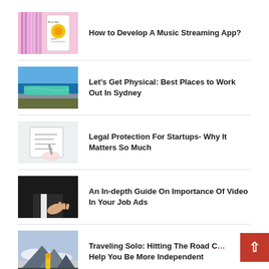[Figure (illustration): Music streaming app promotional image with colorful UI on phone]
How to Develop A Music Streaming App?
[Figure (photo): Aerial view of a coastal ocean pool in Sydney with turquoise water and rocky surroundings]
Let's Get Physical: Best Places to Work Out In Sydney
[Figure (photo): Person writing or drawing on paper, close up of hand]
Legal Protection For Startups- Why It Matters So Much
[Figure (photo): Business person in suit extending hand for handshake against dark background]
An In-depth Guide On Importance Of Video In Your Job Ads
[Figure (photo): Person in yellow raincoat standing on mountain top with clouds below]
Traveling Solo: Hitting The Road Can Help You Be More Independent